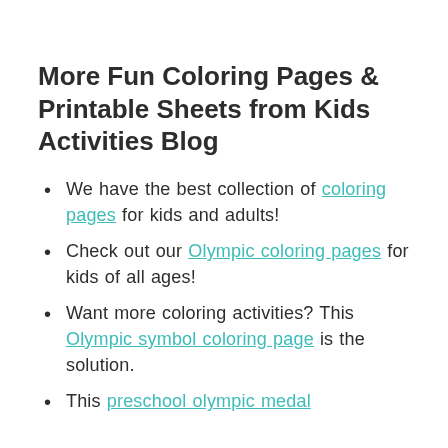More Fun Coloring Pages & Printable Sheets from Kids Activities Blog
We have the best collection of coloring pages for kids and adults!
Check out our Olympic coloring pages for kids of all ages!
Want more coloring activities? This Olympic symbol coloring page is the solution.
This preschool olympic medal